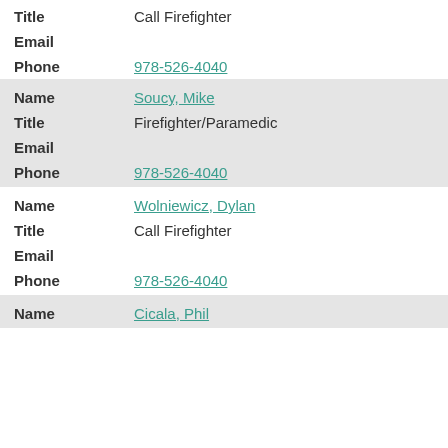| Field | Value |
| --- | --- |
| Title | Call Firefighter |
| Email |  |
| Phone | 978-526-4040 |
| Name | Soucy, Mike |
| Title | Firefighter/Paramedic |
| Email |  |
| Phone | 978-526-4040 |
| Name | Wolniewicz, Dylan |
| Title | Call Firefighter |
| Email |  |
| Phone | 978-526-4040 |
| Name | Cicala, Phil |